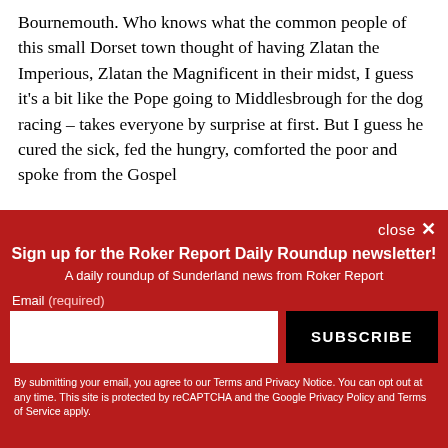Bournemouth. Who knows what the common people of this small Dorset town thought of having Zlatan the Imperious, Zlatan the Magnificent in their midst, I guess it's a bit like the Pope going to Middlesbrough for the dog racing – takes everyone by surprise at first. But I guess he cured the sick, fed the hungry, comforted the poor and spoke from the Gospel
close ×
Sign up for the Roker Report Daily Roundup newsletter!
A daily roundup of Sunderland news from Roker Report
Email (required)
SUBSCRIBE
By submitting your email, you agree to our Terms and Privacy Notice. You can opt out at any time. This site is protected by reCAPTCHA and the Google Privacy Policy and Terms of Service apply.